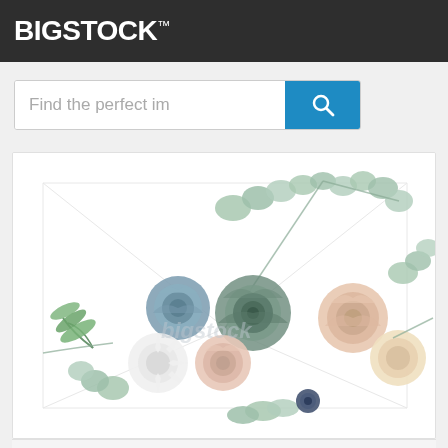BIGSTOCK™
Find the perfect im
[Figure (illustration): Floral arrangement illustration with roses (dusty blue and blush pink), white dahlias, succulents, eucalyptus branches and fern leaves on a white background with a faint envelope outline. Bigstock watermark visible in center.]
Save
Down